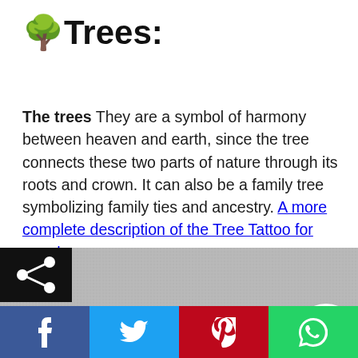🌳Trees:
The trees They are a symbol of harmony between heaven and earth, since the tree connects these two parts of nature through its roots and crown. It can also be a family tree symbolizing family ties and ancestry. A more complete description of the Tree Tattoo for men here.
[Figure (photo): Black and white photo of a tree tattoo, partially visible. Share button overlay in top-left and hamburger menu button overlay on the right side.]
f  🐦  ⓟ